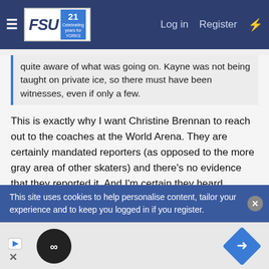FSU forum navigation bar with Log in, Register links
quite aware of what was going on. Kayne was not being taught on private ice, so there must have been witnesses, even if only a few.
This is exactly why I want Christine Brennan to reach out to the coaches at the World Arena. They are certainly mandated reporters (as opposed to the more gray area of other skaters) and there's no evidence that they reported it. And I'm certain they heard something given some videos from the World Arena show the coaches standing near each other at the boards while coaching.
As far as asking Alexa the question, I'm sure USFS could've
This site uses cookies to help personalise content, tailor your experience and to keep you logged in if you register.